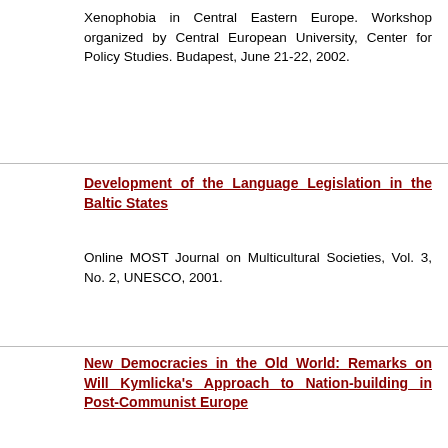Xenophobia in Central Eastern Europe. Workshop organized by Central European University, Center for Policy Studies. Budapest, June 21-22, 2002.
Development of the Language Legislation in the Baltic States
Online MOST Journal on Multicultural Societies, Vol. 3, No. 2, UNESCO, 2001.
New Democracies in the Old World: Remarks on Will Kymlicka's Approach to Nation-building in Post-Communist Europe